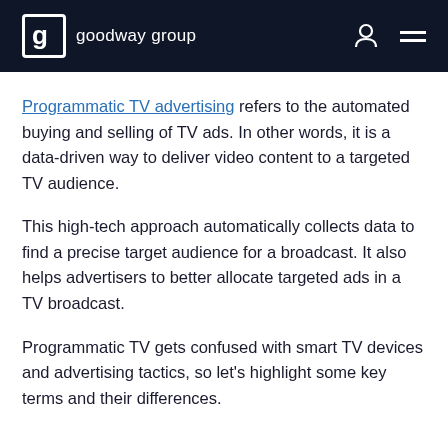goodway group
Programmatic TV advertising refers to the automated buying and selling of TV ads. In other words, it is a data-driven way to deliver video content to a targeted TV audience.
This high-tech approach automatically collects data to find a precise target audience for a broadcast. It also helps advertisers to better allocate targeted ads in a TV broadcast.
Programmatic TV gets confused with smart TV devices and advertising tactics, so let's highlight some key terms and their differences.